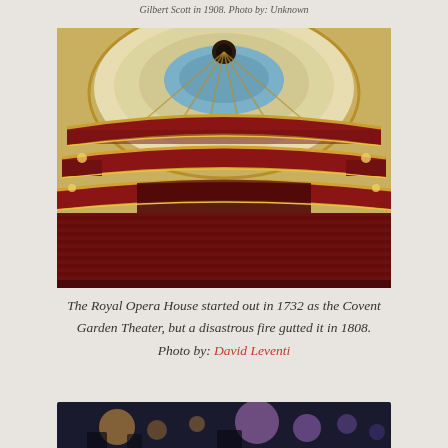Gilbert Scott in 1908. Photo by: Unknown
[Figure (photo): Interior of the Royal Opera House showing ornate gold and red tiered balconies, red velvet seating, and an elaborate domed ceiling with gold decorative elements.]
The Royal Opera House started out in 1732 as the Covent Garden Theater, but a disastrous fire gutted it in 1808. Photo by: David Leventi
[Figure (photo): Partial view of another interior or event space photo, cropped at bottom of page.]